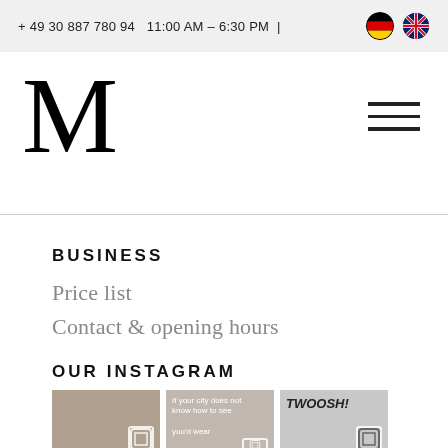+ 49 30 887 780 94   11:00 AM – 6:30 PM  |
[Figure (logo): Large decorative M letter logo in serif font]
[Figure (other): Hamburger menu icon with three horizontal lines]
BUSINESS
Price list
Contact & opening hours
OUR INSTAGRAM
[Figure (photo): Three Instagram thumbnail images: person with sunglasses, text overlay 'If your city does not know how to see... you'd wear', and 'TWOOSH!' text with sneaker]
If your city does not know how to see... you'd wear
TWOOSH!